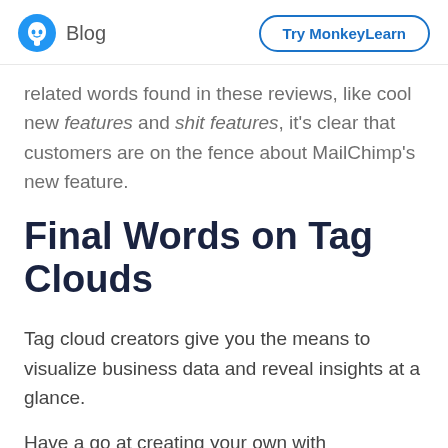Blog | Try MonkeyLearn
related words found in these reviews, like cool new features and shit features, it's clear that customers are on the fence about MailChimp's new feature.
Final Words on Tag Clouds
Tag cloud creators give you the means to visualize business data and reveal insights at a glance.
Have a go at creating your own with MonkeyLearn's Word Cloud Tool.